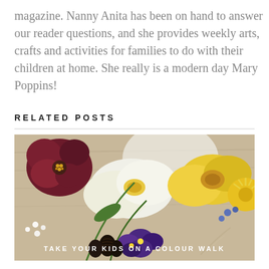magazine. Nanny Anita has been on hand to answer our reader questions, and she provides weekly arts, crafts and activities for families to do with their children at home. She really is a modern day Mary Poppins!
RELATED POSTS
[Figure (photo): A colourful arrangement of spring flowers including dark red hellebores, yellow daffodils, white narcissus, purple violas, yellow dandelions, small white flowers, and dark pine cones on a wooden surface.]
TAKE YOUR KIDS ON A COLOUR WALK